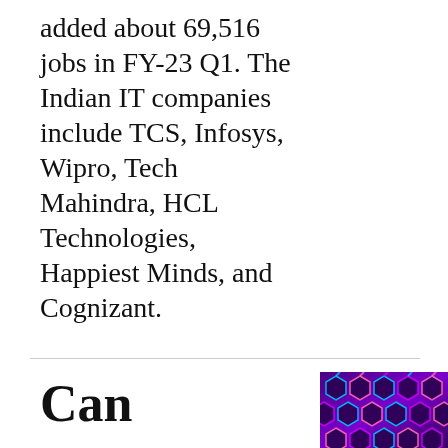added about 69,516 jobs in FY-23 Q1. The Indian IT companies include TCS, Infosys, Wipro, Tech Mahindra, HCL Technologies, Happiest Minds, and Cognizant.
Can
[Figure (photo): Dark background with glowing neon-lit hexagonal shapes in purple, pink, and blue tones arranged in a grid pattern.]